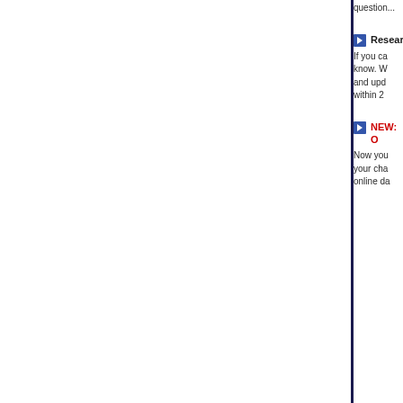question...
Research...
If you ca... know. W... and upd... within 2...
NEW: O...
Now you... your cha... online da...